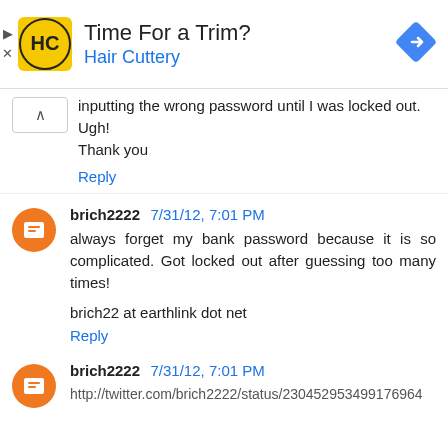[Figure (screenshot): Hair Cuttery advertisement banner with logo, 'Time For a Trim?' headline, 'Hair Cuttery' in blue, and a blue diamond-shaped navigation icon on the right. Play and close controls on the left.]
inputting the wrong password until I was locked out. Ugh! Thank you
Reply
brich2222  7/31/12, 7:01 PM
always forget my bank password because it is so complicated. Got locked out after guessing too many times!
brich22 at earthlink dot net
Reply
brich2222  7/31/12, 7:01 PM
http://twitter.com/brich2222/status/230452953499176964